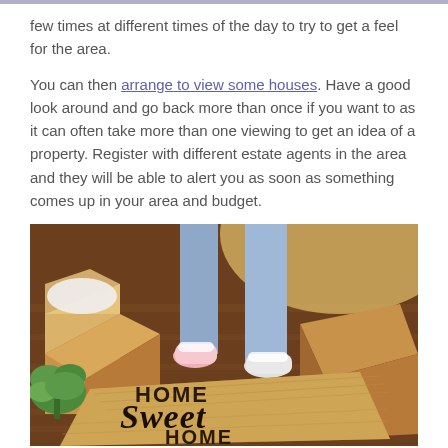few times at different times of the day to try to get a feel for the area.

You can then arrange to view some houses. Have a good look around and go back more than once if you want to as it can often take more than one viewing to get an idea of a property. Register with different estate agents in the area and they will be able to alert you as soon as something comes up in your area and budget.
[Figure (photo): Two people standing near moving boxes on a wooden floor with a 'Home Sweet Home' doormat in the foreground and a green plant on the left.]
Image credit